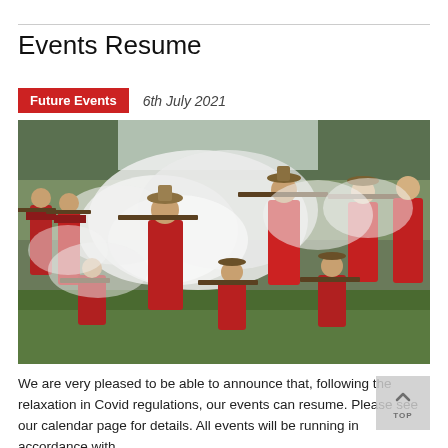Events Resume
Future Events   6th July 2021
[Figure (photo): Historical reenactment scene showing a group of men dressed in red 17th-century military coats firing muskets on a grassy field, with white smoke billowing from the weapons.]
We are very pleased to be able to announce that, following the relaxation in Covid regulations, our events can resume. Please see our calendar page for details. All events will be running in accordance with